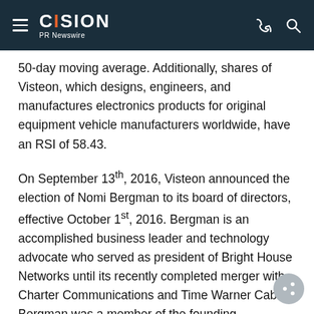CISION PR Newswire
50-day moving average. Additionally, shares of Visteon, which designs, engineers, and manufactures electronics products for original equipment vehicle manufacturers worldwide, have an RSI of 58.43.
On September 13th, 2016, Visteon announced the election of Nomi Bergman to its board of directors, effective October 1st, 2016. Bergman is an accomplished business leader and technology advocate who served as president of Bright House Networks until its recently completed merger with Charter Communications and Time Warner Cable. Bergman was a member of the founding